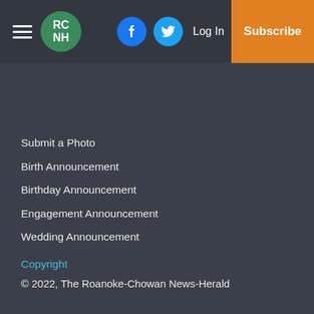RCNH | Log In | Subscribe
Submit a Photo
Birth Announcement
Birthday Announcement
Engagement Announcement
Wedding Announcement
Copyright
© 2022, The Roanoke-Chowan News-Herald